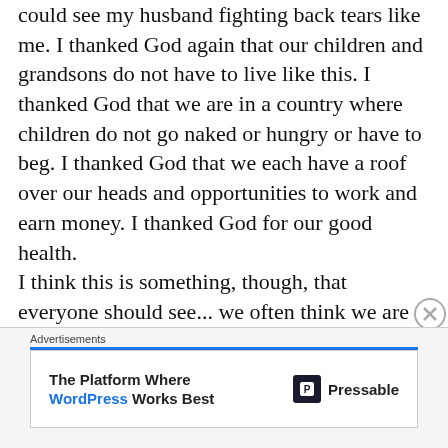could see my husband fighting back tears like me. I thanked God again that our children and grandsons do not have to live like this. I thanked God that we are in a country where children do not go naked or hungry or have to beg. I thanked God that we each have a roof over our heads and opportunities to work and earn money. I thanked God for our good health.
I think this is something, though, that everyone should see... we often think we are hard done by but once you see this... a 12 hour work day in an air-conditioned office, knowing you'll get to stop for lunch (even if it's eating at your desk) and that you'll actually have food to eat... well, it just will seem so ridiculous to have complained. I've seen a lot of comments on TV, social media etc where it is said that the youth of today think they are owed something...
Advertisements
The Platform Where WordPress Works Best | Pressable